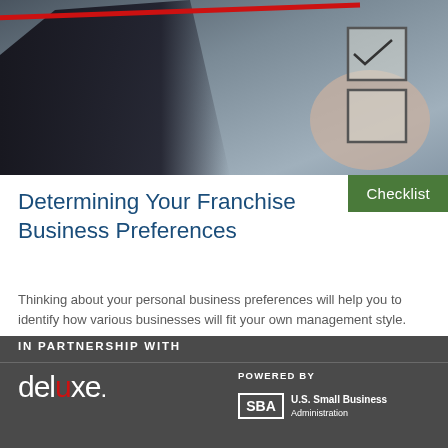[Figure (photo): Person in dark suit holding a pen near checkboxes on a transparent surface, with a red diagonal line across the top of the image]
Checklist
Determining Your Franchise Business Preferences
Thinking about your personal business preferences will help you to identify how various businesses will fit your own management style. Answer the questions in this checklist to… Read more ›
IN PARTNERSHIP WITH
[Figure (logo): Deluxe logo in white with red X]
POWERED BY
[Figure (logo): SBA - U.S. Small Business Administration logo]